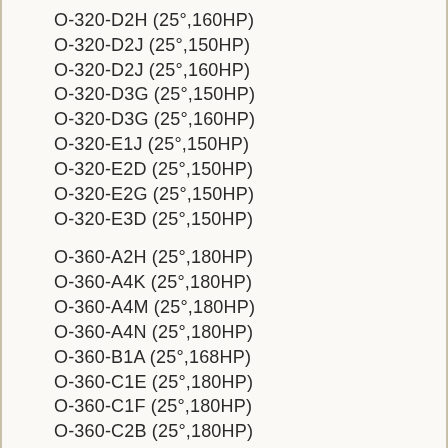O-320-D2H (25°,160HP)
O-320-D2J (25°,150HP)
O-320-D2J (25°,160HP)
O-320-D3G (25°,150HP)
O-320-D3G (25°,160HP)
O-320-E1J (25°,150HP)
O-320-E2D (25°,150HP)
O-320-E2G (25°,150HP)
O-320-E3D (25°,150HP)
O-360-A2H (25°,180HP)
O-360-A4K (25°,180HP)
O-360-A4M (25°,180HP)
O-360-A4N (25°,180HP)
O-360-B1A (25°,168HP)
O-360-C1E (25°,180HP)
O-360-C1F (25°,180HP)
O-360-C2B (25°,180HP)
O-360-C2E (25°,180HP)
O-360-D1A (25°,168HP)